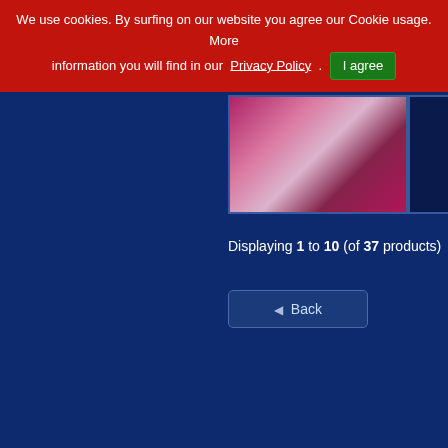We use cookies. By surfing on our website you agree our Cookie usage. More information you will find in our Privacy Policy . I agree
[Figure (photo): Partial view of a person's face against a pink/red abstract background, with a dark strip to the right.]
Displaying 1 to 10 (of 37 products)
◄ Back